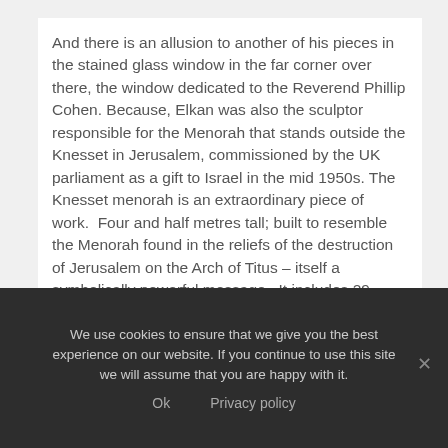And there is an allusion to another of his pieces in the stained glass window in the far corner over there, the window dedicated to the Reverend Phillip Cohen. Because, Elkan was also the sculptor responsible for the Menorah that stands outside the Knesset in Jerusalem, commissioned by the UK parliament as a gift to Israel in the mid 1950s. The Knesset menorah is an extraordinary piece of work.  Four and half metres tall; built to resemble the Menorah found in the reliefs of the destruction of Jerusalem on the Arch of Titus – itself a symbolically powerful message.  It includes 29 individual scenes, giving a journey through Jewish history from the biblical narratives up to the efforts of the pioneers in building the modern state of Israel.
Some of the features of figures are almost the...
We use cookies to ensure that we give you the best experience on our website. If you continue to use this site we will assume that you are happy with it.
Ok   Privacy policy